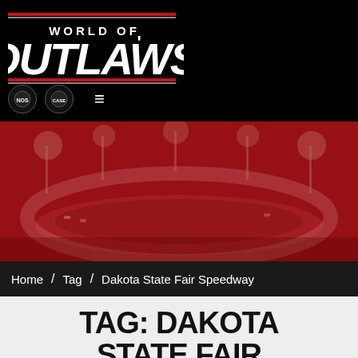[Figure (logo): World of Outlaws logo on black background with red accent lines]
[Figure (photo): Red-tinted aerial photo of a dirt oval racetrack at night with stadium lights]
Home / Tag / Dakota State Fair Speedway
TAG: DAKOTA STATE FAIR SPEEDWAY